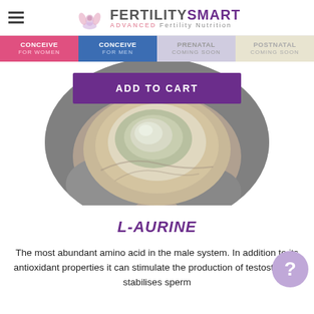FERTILITYSMART ADVANCED Fertility Nutrition
CONCEIVE FOR WOMEN | CONCEIVE FOR MEN | PRENATAL COMING SOON | POSTNATAL COMING SOON
[Figure (photo): Circular cropped photo of an open oyster on ice with an ADD TO CART button overlaid]
L-AURINE
The most abundant amino acid in the male system. In addition to its antioxidant properties it can stimulate the production of testosterone, stabilises sperm